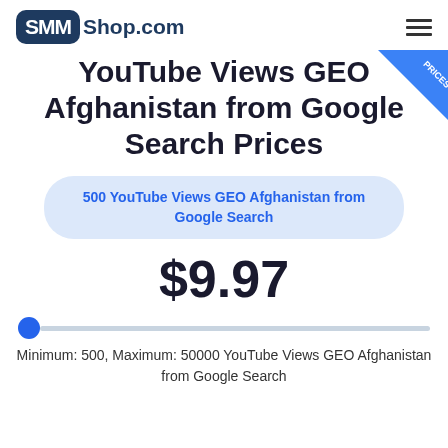[Figure (logo): SMMShop.com logo with dark blue rounded rectangle containing white bold SMM text, followed by Shop.com in dark blue]
YouTube Views GEO Afghanistan from Google Search Prices
500 YouTube Views GEO Afghanistan from Google Search
$9.97
Minimum: 500, Maximum: 50000 YouTube Views GEO Afghanistan from Google Search